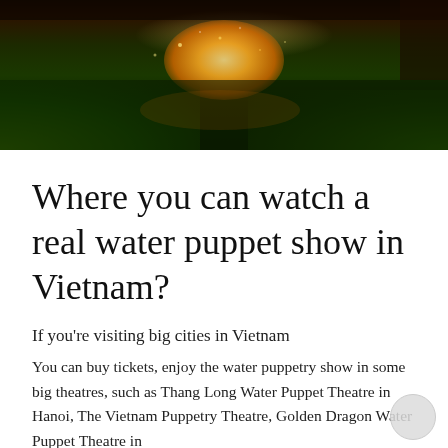[Figure (photo): A dark water puppet show scene with glowing orange light in the center and green foliage/stage elements at the bottom]
Where you can watch a real water puppet show in Vietnam?
If you're visiting big cities in Vietnam
You can buy tickets, enjoy the water puppetry show in some big theatres, such as Thang Long Water Puppet Theatre in Hanoi, The Vietnam Puppetry Theatre, Golden Dragon Water Puppet Theatre in...